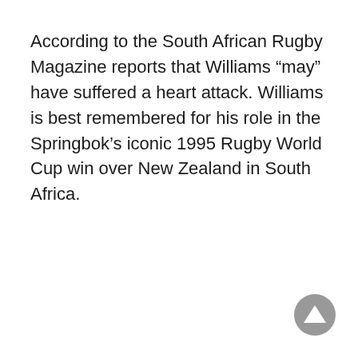According to the South African Rugby Magazine reports that Williams “may” have suffered a heart attack. Williams is best remembered for his role in the Springbok’s iconic 1995 Rugby World Cup win over New Zealand in South Africa.
[Figure (other): A circular grey button with a white upward-pointing triangle (back-to-top button) in the bottom-right corner.]